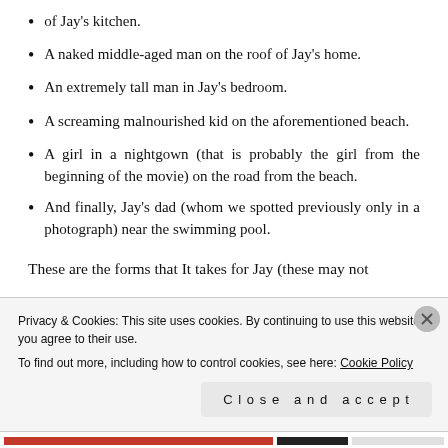of Jay's kitchen.
A naked middle-aged man on the roof of Jay's home.
An extremely tall man in Jay's bedroom.
A screaming malnourished kid on the aforementioned beach.
A girl in a nightgown (that is probably the girl from the beginning of the movie) on the road from the beach.
And finally, Jay's dad (whom we spotted previously only in a photograph) near the swimming pool.
These are the forms that It takes for Jay (these may not
Privacy & Cookies: This site uses cookies. By continuing to use this website, you agree to their use. To find out more, including how to control cookies, see here: Cookie Policy
Close and accept